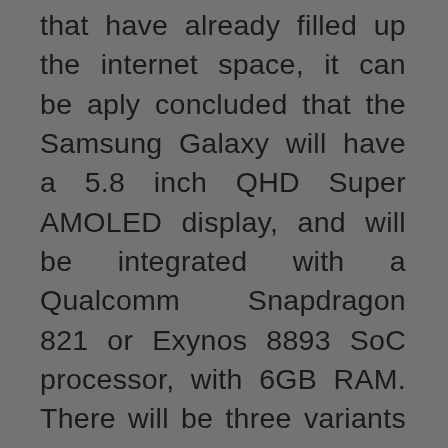that have already filled up the internet space, it can be aply concluded that the Samsung Galaxy will have a 5.8 inch QHD Super AMOLED display, and will be integrated with a Qualcomm Snapdragon 821 or Exynos 8893 SoC processor, with 6GB RAM. There will be three variants of internal storage, 64GB, 128GB and 256GB. The rear camera will be of 12MP, while the front facing camera will be of 5MP. Also, it is anticipated that the Samsung Phablet will run on Android Marshmallow out-of-the-box with TouchWiz 'Grace' UX. The new UI interface installed in the phablet will provide the users with a revamped interface, especially with new features like notification panel, easy access